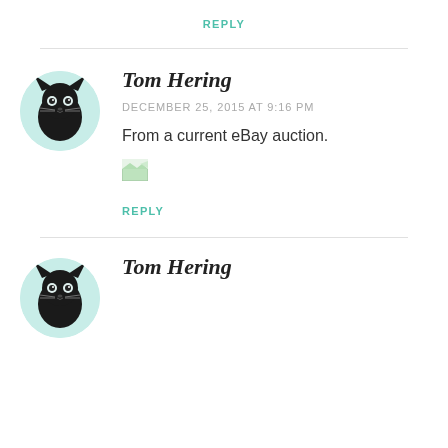REPLY
Tom Hering
DECEMBER 25, 2015 AT 9:16 PM
From a current eBay auction.
[Figure (other): Broken image placeholder icon]
REPLY
Tom Hering